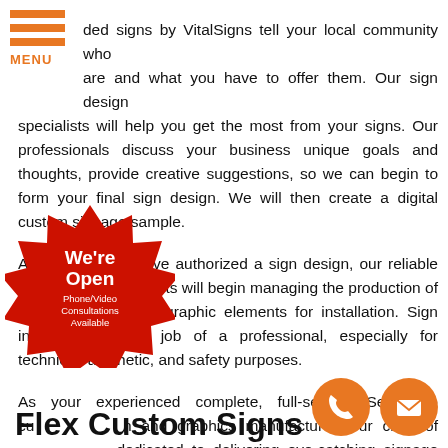[Figure (logo): Hamburger menu icon with three orange bars and MENU text in orange]
ded signs by VitalSigns tell your local community who are and what you have to offer them. Our sign design specialists will help you get the most from your signs. Our professionals discuss your business unique goals and thoughts, provide creative suggestions, so we can begin to form your final sign design. We will then create a digital custom signage sample.
As soon as you have authorized a sign design, our reliable sign fabrication experts will begin managing the production of your sign, wrap, or graphic elements for installation. Sign installation is the job of a professional, especially for technical, aesthetic, and safety purposes.
As your experienced complete, full-service Searsboro cu sign and graphics manufacturer, our crew of dedicated to delivering eye-catching signage works.
[Figure (illustration): Red starburst badge with white text reading We're Open and Phone/Video Consultations Available]
[Figure (illustration): Orange circle icons for phone and email contact]
Flex Custom Signs